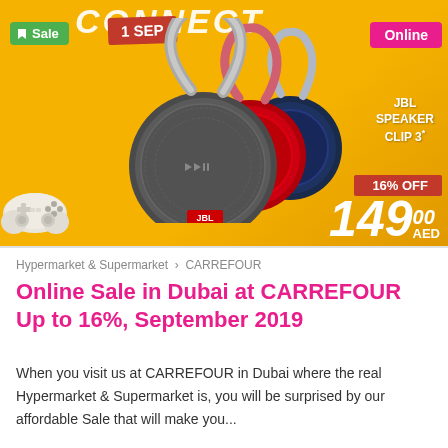[Figure (photo): Promotional banner for CARREFOUR online sale featuring JBL Clip 3 Bluetooth speakers in gray, red, and navy colors on a yellow background. Includes sale badge, date '1 SEP', 'Online' badge, 16% OFF ribbon, and price of 149.00 AED. Also shows a game controller in the bottom left.]
Hypermarket & Supermarket > CARREFOUR
Online Sale in Dubai at CARREFOUR Up to 16%, September 2019
When you visit us at CARREFOUR in Dubai where the real Hypermarket & Supermarket is, you will be surprised by our affordable Sale that will make you...